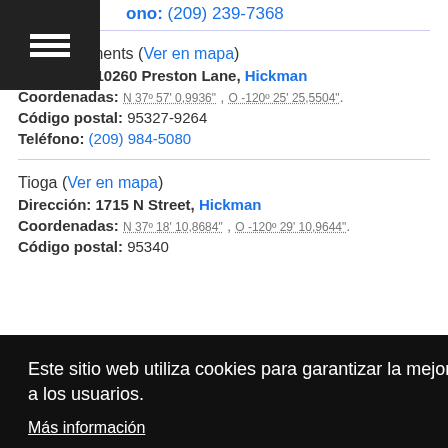ono: (209) 239-7368
Hills Apartments (Ver en mapa)
Dirección: 10260 Preston Lane, Hickman
Coordenadas: N 37º 57' 0,9936" , O -120º 25' 25,5504".
Código postal: 95327-9264
Teléfono: (209) 984-5080
Tioga (Ver en mapa)
Dirección: 1715 N Street, Hickman
Coordenadas: N 37º 18' 10,8684" , O -120º 29' 10,9644".
Código postal: 95340
Este sitio web utiliza cookies para garantizar la mejor experiencia a los usuarios.
Más información
De acuerdo
Coordenadas: N 37º 19' 26,0076" , O -120º 28' 59,8944".